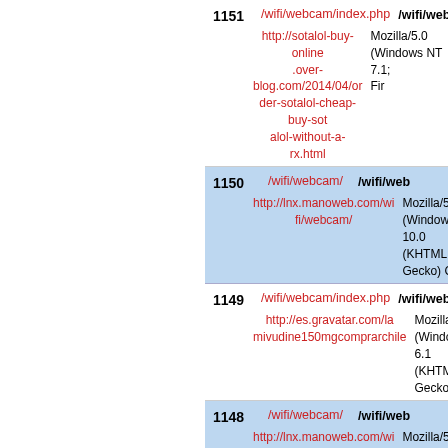| # | URL | Details |
| --- | --- | --- |
| 1151 | /wifi/webcam/index.php | /wifi/web... |
|  | http://sotalol-buy-online.over-blog.com/2014/04/order-sotalol-cheap-buy-sotalol-without-a-rx.html | Mozilla/5.0 (Windows NT 7.1; Fin... |
| 1150 | /wifi/webcam/ | /wifi/web... |
|  | http://lnx.manoweb.com/wifi/webcam/ | Mozilla/5.0 (Windows NT 10.0 (KHTML, like Gecko) Chr... |
| 1149 | /wifi/webcam/index.php | /wifi/web... |
|  | http://es.gravatar.com/lamivudine150mgcomprarchile | Mozilla/5.0 (Windows NT 6.1 (KHTML, like Gecko) Chr... |
| 1148 | /wifi/webcam/ | /wifi/web... |
|  | http://lnx.manoweb.com/wifi/webcam/ | Mozilla/5.0 (Windows NT 10.0 (KHTML, like Gecko) Chr... |